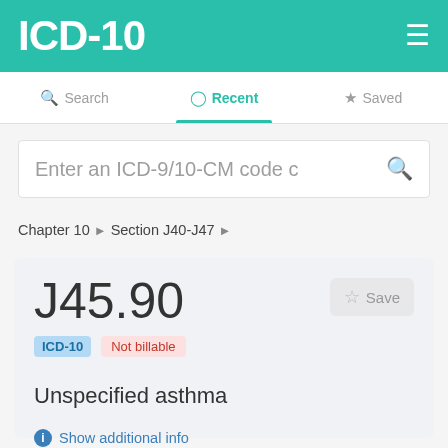ICD-10
Search | Recent | Saved
Enter an ICD-9/10-CM code c
Chapter 10 › Section J40-J47 ›
J45.90 ICD-10 Not billable Save
Unspecified asthma
Show additional info